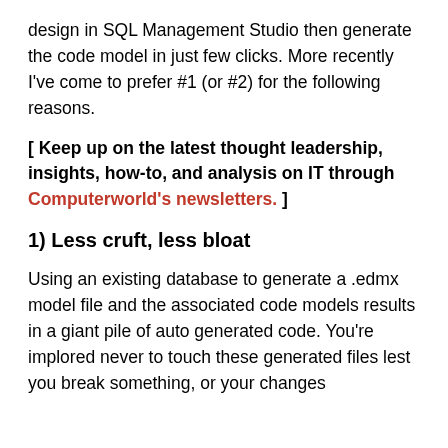design in SQL Management Studio then generate the code model in just few clicks. More recently I've come to prefer #1 (or #2) for the following reasons.
[ Keep up on the latest thought leadership, insights, how-to, and analysis on IT through Computerworld's newsletters. ]
1) Less cruft, less bloat
Using an existing database to generate a .edmx model file and the associated code models results in a giant pile of auto generated code. You're implored never to touch these generated files lest you break something, or your changes